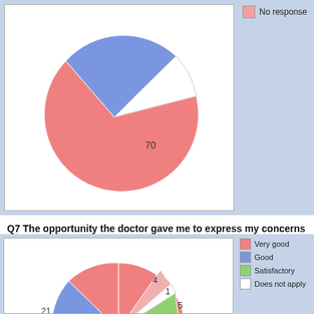[Figure (pie-chart): Partially visible pie chart with large salmon/pink slice (70), blue slice, and small slices]
Q7 The opportunity the doctor gave me to express my concerns w
Very good   69%
Good   21%
Satisfactory   5%
Poor   0%
Very poor   0%
Does not apply   1%
No response   4%
[Figure (pie-chart): Pie chart showing Q7 responses: large salmon slice (69%), blue slice (21), green slice (5), small slices (1,4)]